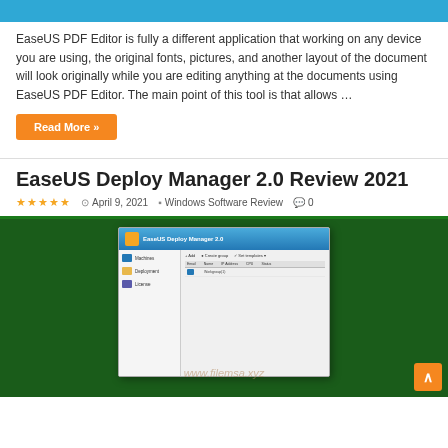[Figure (screenshot): Blue banner bar at top of webpage]
EaseUS PDF Editor is fully a different application that working on any device you are using, the original fonts, pictures, and another layout of the document will look originally while you are editing anything at the documents using EaseUS PDF Editor. The main point of this tool is that allows …
Read More »
EaseUS Deploy Manager 2.0 Review 2021
★★★★★  April 9, 2021  Windows Software Review  0
[Figure (screenshot): Screenshot of EaseUS Deploy Manager 2.0 software interface with blue title bar showing program name, sidebar with icons, and main content area. Watermark text www.filemsa.xyz visible. Set on dark green background.]